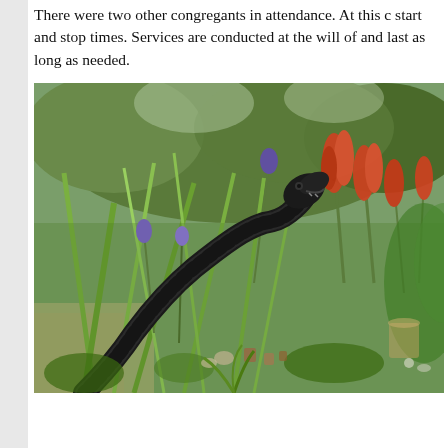There were two other congregants in attendance. At this church there are no start and stop times. Services are conducted at the will of the congregants and last as long as needed.
[Figure (photo): Outdoor garden scene with lush green grasses, wildflowers including purple and red/orange blooms, trees in background, and a dark sculptural snake or dinosaur figure with an open mouth emerging from among the plants. Various small pots and objects visible on the ground.]